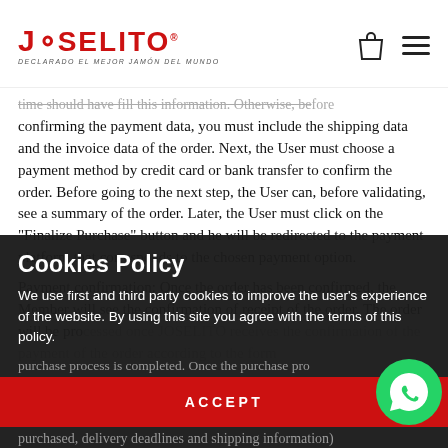JOSELITO — Declarado el Mejor Jamón del Mundo
time should have fill this information. Otherwise, before confirming the payment data, you must include the shipping data and the invoice data of the order. Next, the User must choose a payment method by credit card or bank transfer to confirm the order. Before going to the next step, the User can, before validating, see a summary of the order. Later, the User must click on the "Finalize Purchase" button and he will be redirected to the payment platform that corresponds to the chosen payment option.
Payment confirmation: Once the order has been confirmed, the Member will see the confirmation of receipt of the order. The order will be processed once JOSELITO receives the confirmation of the payment of the order according to the form of payment chosen by the Member. Once this purchase process is completed. Once the purchase pro...
Cookies Policy
We use first and third party cookies to improve the user's experience of the website. By using this site you agree with the terms of this policy.
purchased, delivery deadlines and shipping information)